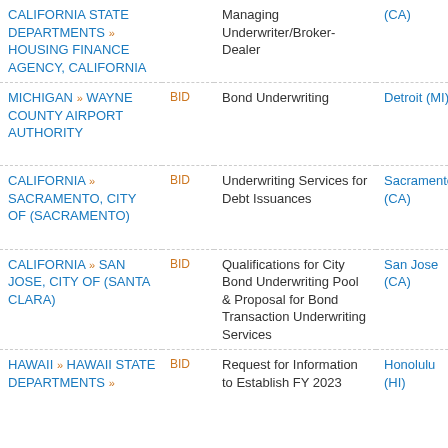| Organization | Type | Description | Location | Action |
| --- | --- | --- | --- | --- |
| CALIFORNIA STATE DEPARTMENTS » HOUSING FINANCE AGENCY, CALIFORNIA |  | Managing Underwriter/Broker-Dealer | (CA) | Try GovWin IQ for Free |
| MICHIGAN » WAYNE COUNTY AIRPORT AUTHORITY | BID | Bond Underwriting | Detroit (MI) | Try GovWin IQ for Free |
| CALIFORNIA » SACRAMENTO, CITY OF (SACRAMENTO) | BID | Underwriting Services for Debt Issuances | Sacramento (CA) | Try GovWin IQ for Free |
| CALIFORNIA » SAN JOSE, CITY OF (SANTA CLARA) | BID | Qualifications for City Bond Underwriting Pool & Proposal for Bond Transaction Underwriting Services | San Jose (CA) | Try GovWin IQ for Free |
| HAWAII » HAWAII STATE DEPARTMENTS » | BID | Request for Information to Establish FY 2023 ... | Honolulu (HI) | Try GovWin IQ for |